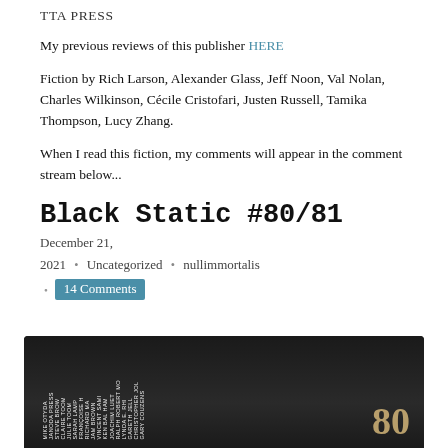TTA PRESS
My previous reviews of this publisher HERE
Fiction by Rich Larson, Alexander Glass, Jeff Noon, Val Nolan, Charles Wilkinson, Cécile Cristofari, Justen Russell, Tamika Thompson, Lucy Zhang.
When I read this fiction, my comments will appear in the comment stream below...
Black Static #80/81
December 21, 2021  •  Uncategorized  •  nullimmortalis
14 Comments
[Figure (photo): Cover of Black Static magazine #80/81, dark background with names listed on the left side in vertical text and the number 80 visible in the lower right in gold/amber color.]